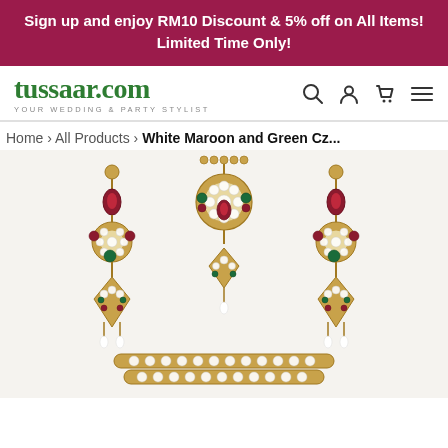Sign up and enjoy RM10 Discount & 5% off on All Items! Limited Time Only!
[Figure (screenshot): tussaar.com website navigation bar with logo in green serif font reading 'tussaar.com' with tagline 'YOUR WEDDING & PARTY STYLIST' and icons for search, account, cart, and menu]
Home › All Products › White Maroon and Green Cz...
[Figure (photo): Indian bridal jewelry set with white, maroon, and green cubic zirconia stones on gold-tone setting, showing two matching earrings and a maang tikka/headpiece with a necklace partially visible at the bottom]